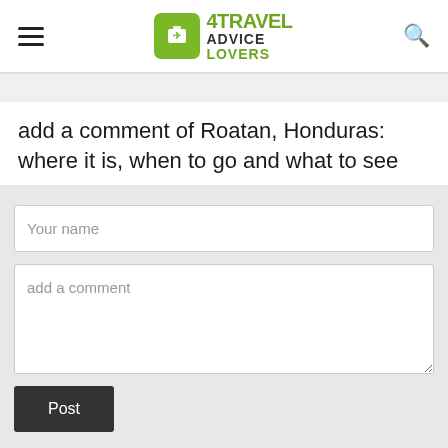4TRAVEL ADVICE LOVERS
add a comment of Roatan, Honduras: where it is, when to go and what to see
Your name
add a comment
Post